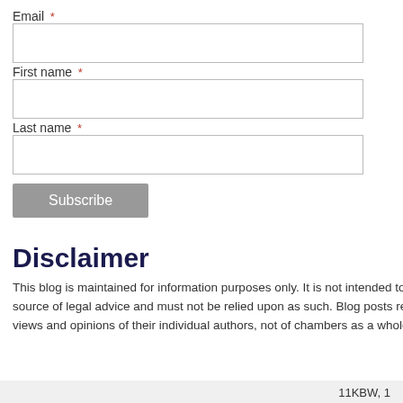Email *
First name *
Last name *
Subscribe
Disclaimer
This blog is maintained for information purposes only. It is not intended to be a source of legal advice and must not be relied upon as such. Blog posts reflect the views and opinions of their individual authors, not of chambers as a whole.
4. Is the transferee employer bound to...transfer
In the language of Europe, the view th... “the dynamic” view, and the opposite...doing so Parkwood relied on the earli...
The UK Tribunals and Courts came u...of questions to Europe.
The CJEU has decided that Member...the terms agreed after the transfer by...relied both on general principles and e...
The effect of this is that what was the...dynamic approach (such as Whent v...
Adrian Lynch QC acted for Parkwood...
Read judgment click here
Tags: Alemo-Herron v Parkwood Leis...
This entry was posted on Friday, July 26th...
Comments are closed.
11KBW, 1...